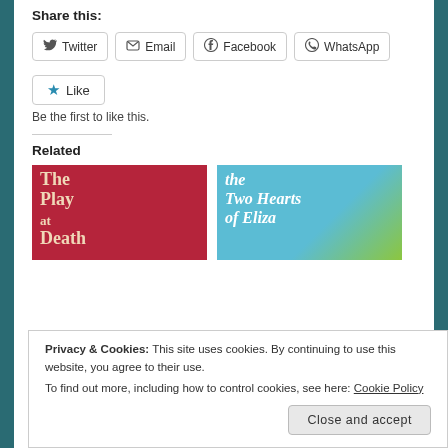Share this:
Twitter | Email | Facebook | WhatsApp
Like | Be the first to like this.
Related
[Figure (photo): Book cover: The Play of Death (red gothic lettering on dark red background)]
[Figure (photo): Book cover: The Two Hearts of Eliza (white italic text on blue/teal background)]
Privacy & Cookies: This site uses cookies. By continuing to use this website, you agree to their use.
To find out more, including how to control cookies, see here: Cookie Policy
Close and accept